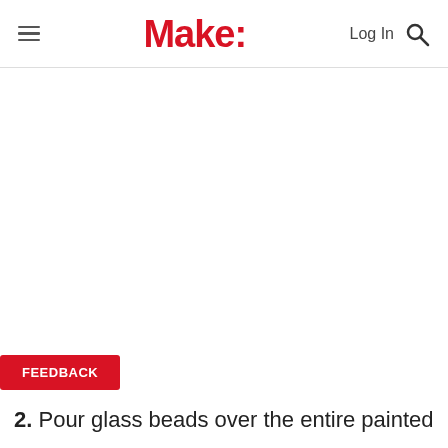≡  Make:  Log In 🔍
FEEDBACK
2. Pour glass beads over the entire painted